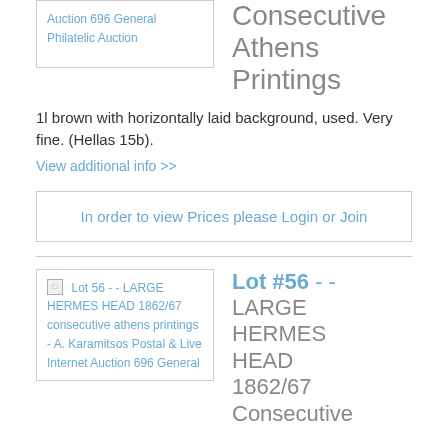[Figure (other): Thumbnail image box for Lot 55 - A. Karamitsos Postal & Live Internet Auction 696 General Philatelic Auction]
Consecutive Athens Printings
1l brown with horizontally laid background, used. Very fine. (Hellas 15b).
View additional info >>
In order to view Prices please Login or Join
[Figure (other): Thumbnail image box for Lot 56 - LARGE HERMES HEAD 1862/67 consecutive athens printings - A. Karamitsos Postal & Live Internet Auction 696 General]
Lot #56 - - LARGE HERMES HEAD 1862/67 Consecutive